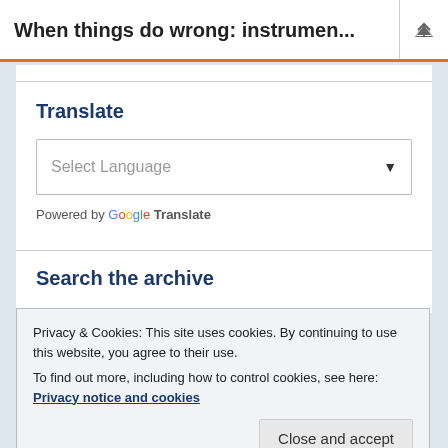When things do wrong: instrumen...
Translate
Select Language
Powered by Google Translate
Search the archive
Privacy & Cookies: This site uses cookies. By continuing to use this website, you agree to their use.
To find out more, including how to control cookies, see here: Privacy notice and cookies
Close and accept
For more from RGS-IBG Research and Higher Education, click